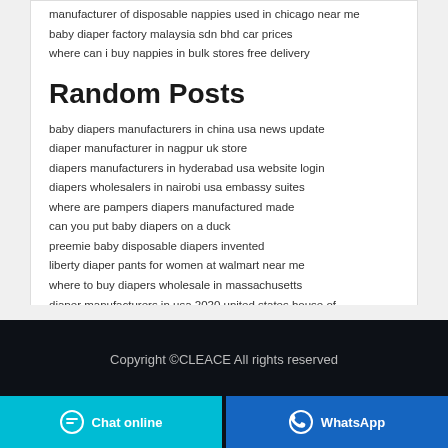manufacturer of disposable nappies used in chicago near me
baby diaper factory malaysia sdn bhd car prices
where can i buy nappies in bulk stores free delivery
Random Posts
baby diapers manufacturers in china usa news update
diaper manufacturer in nagpur uk store
diapers manufacturers in hyderabad usa website login
diapers wholesalers in nairobi usa embassy suites
where are pampers diapers manufactured made
can you put baby diapers on a duck
preemie baby disposable diapers invented
liberty diaper pants for women at walmart near me
where to buy diapers wholesale in massachusetts
diaper manufacturers in usa 2020 united states house of representatives elections
Copyright ©CLEACE All rights reserved
Chat online
WhatsApp